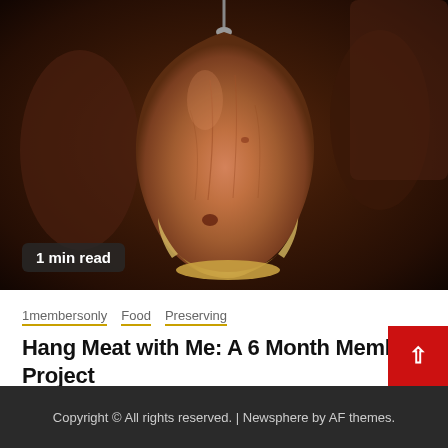[Figure (photo): A cured ham or leg of meat hanging, showing the hoof end, with a blurred dark warm brown background suggesting a curing room or cellar.]
1 min read
1membersonly  Food  Preserving
Hang Meat with Me: A 6 Month Member Project
1 week ago   James Walton
Copyright © All rights reserved. | Newsphere by AF themes.